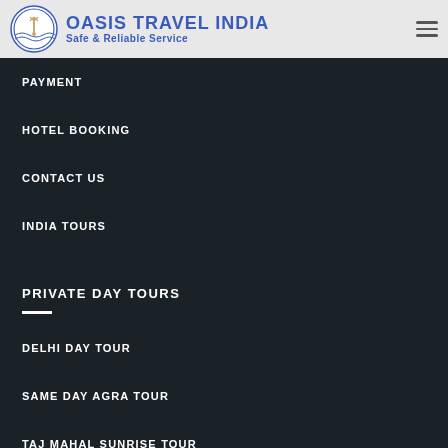OASIS TRAVEL INDIA Safe & Reliable Service
PAYMENT
HOTEL BOOKING
CONTACT US
INDIA TOURS
PRIVATE DAY TOURS
DELHI DAY TOUR
SAME DAY AGRA TOUR
TAJ MAHAL SUNRISE TOUR